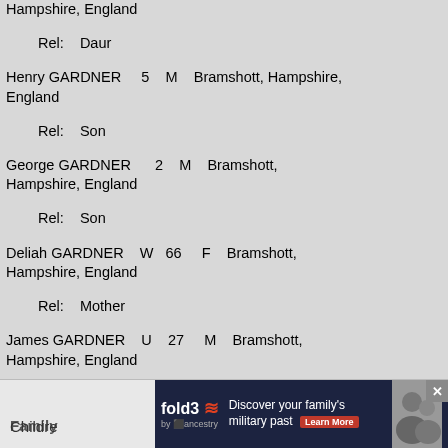Hampshire, England
    Rel:    Daur
Henry GARDNER    5    M    Bramshott, Hampshire, England
    Rel:    Son
George GARDNER    2    M    Bramshott, Hampshire, England
    Rel:    Son
Deliah GARDNER    W    66    F    Bramshott, Hampshire, England
    Rel:    Mother
James GARDNER    U    27    M    Bramshott, Hampshire, England
    Rel:    Brother
    Occ:    Farmer.2
He appeared on the census of 5 April 1891 at Bramshott, Hampshire, England, as Head, married, age 50, birthplace Hollywater, Hampshire and he was a Farmer.3 He died in 1892 at Hampshire, England; and his death was recorded at Petersfield registration office in the June quarter 1892.4
Family
Children